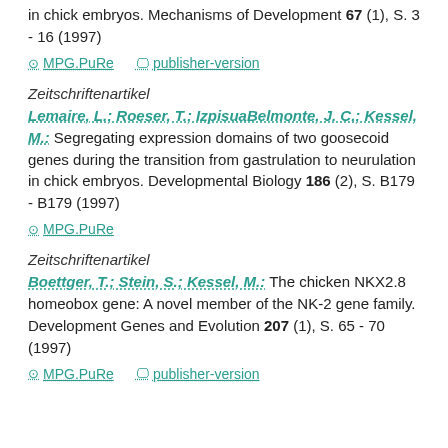in chick embryos. Mechanisms of Development 67 (1), S. 3 - 16 (1997)
MPG.PuRe   publisher-version
Zeitschriftenartikel
Lemaire, L.; Roeser, T.; IzpisuaBelmonte, J. C.; Kessel, M.: Segregating expression domains of two goosecoid genes during the transition from gastrulation to neurulation in chick embryos. Developmental Biology 186 (2), S. B179 - B179 (1997)
MPG.PuRe
Zeitschriftenartikel
Boettger, T.; Stein, S.; Kessel, M.: The chicken NKX2.8 homeobox gene: A novel member of the NK-2 gene family. Development Genes and Evolution 207 (1), S. 65 - 70 (1997)
MPG.PuRe   publisher-version